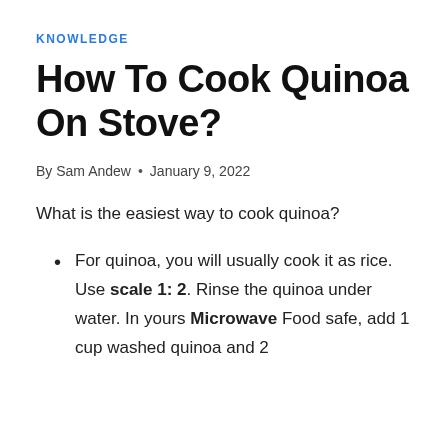KNOWLEDGE
How To Cook Quinoa On Stove?
By Sam Andew • January 9, 2022
What is the easiest way to cook quinoa?
For quinoa, you will usually cook it as rice. Use scale 1: 2. Rinse the quinoa under water. In yours Microwave Food safe, add 1 cup washed quinoa and 2